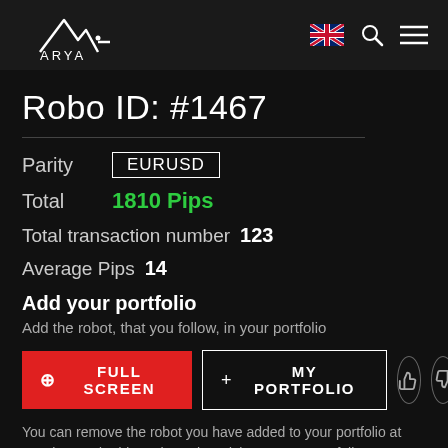ARYA
Robo ID: #1467
Parity  EURUSD
Total  1810 Pips
Total transaction number  123
Average Pips  14
Add your portfolio
Add the robot, that you follow, in your portfolio
FULL SCREEN  + MY PORTFOLIO
You can remove the robot you have added to your portfolio at any time and add another robo advisor to your portfolio.